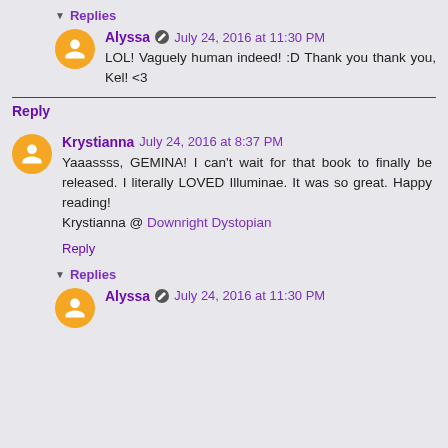▾ Replies
Alyssa  July 24, 2016 at 11:30 PM
LOL! Vaguely human indeed! :D Thank you thank you, Kel! <3
Reply
Krystianna July 24, 2016 at 8:37 PM
Yaaassss, GEMINA! I can't wait for that book to finally be released. I literally LOVED Illuminae. It was so great. Happy reading!
Krystianna @ Downright Dystopian
Reply
▾ Replies
Alyssa  July 24, 2016 at 11:30 PM